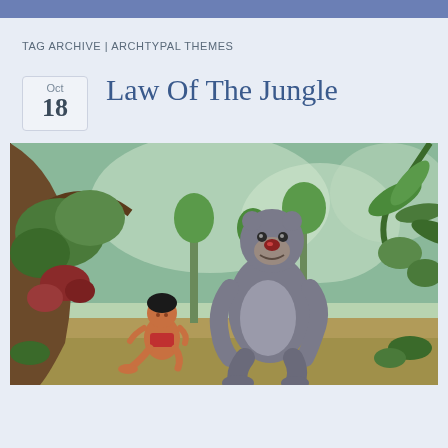TAG ARCHIVE | ARCHTYPAL THEMES
Law Of The Jungle
[Figure (illustration): Animated scene from The Jungle Book showing Mowgli sitting on the ground looking up at Baloo the bear, who is standing upright smiling. Lush jungle background with trees and tropical plants in greens and blues.]